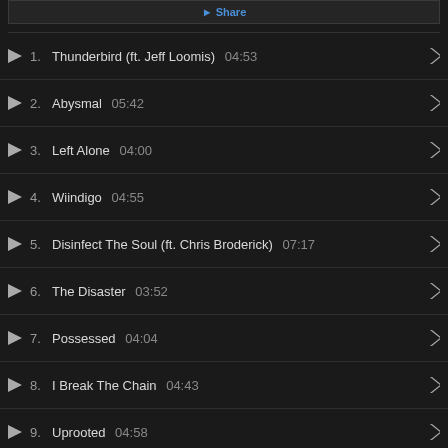1. Thunderbird (ft. Jeff Loomis) 04:53
2. Abysmal 05:42
3. Left Alone 04:00
4. Wiindigo 04:55
5. Disinfect The Soul (ft. Chris Broderick) 07:17
6. The Disaster 03:52
7. Possessed 04:04
8. I Break The Chain 04:43
9. Uprooted 04:58
credits